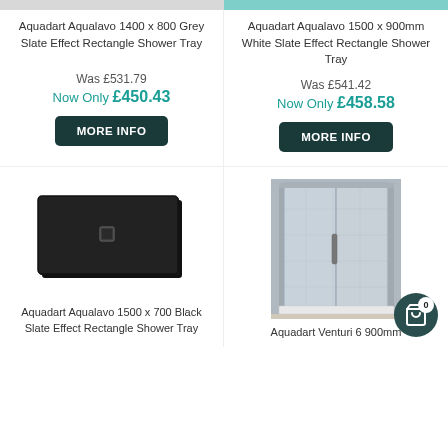Aquadart Aqualavo 1400 x 800 Grey Slate Effect Rectangle Shower Tray
Aquadart Aqualavo 1500 x 900mm White Slate Effect Rectangle Shower Tray
Was £531.79
Now Only £450.43
Was £541.42
Now Only £458.58
MORE INFO
MORE INFO
[Figure (photo): Black slate effect rectangle shower tray]
[Figure (photo): Shower enclosure with pivot door]
Aquadart Aqualavo 1500 x 700 Black Slate Effect Rectangle Shower Tray
Aquadart Venturi 6 900mm